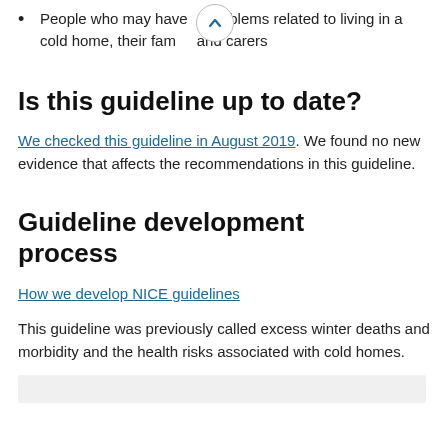People who may have problems related to living in a cold home, their families and carers
Is this guideline up to date?
We checked this guideline in August 2019. We found no new evidence that affects the recommendations in this guideline.
Guideline development process
How we develop NICE guidelines
This guideline was previously called excess winter deaths and morbidity and the health risks associated with cold homes.